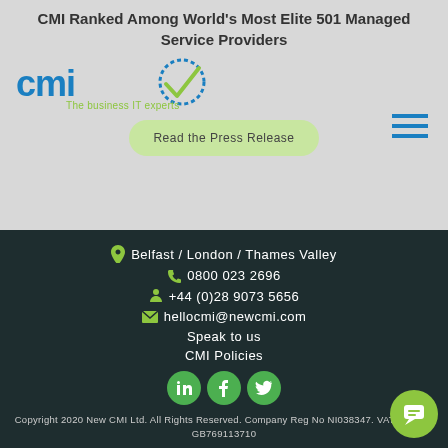CMI Ranked Among World's Most Elite 501 Managed Service Providers
[Figure (logo): CMI logo with checkmark and text 'The business IT experts']
Read the Press Release
Belfast / London / Thames Valley
0800 023 2696
+44 (0)28 9073 5656
hellocmi@newcmi.com
Speak to us
CMI Policies
[Figure (illustration): Social media icons: LinkedIn, Facebook, Twitter]
Copyright 2020 New CMI Ltd. All Rights Reserved. Company Reg No NI038347. VAT Number GB769113710